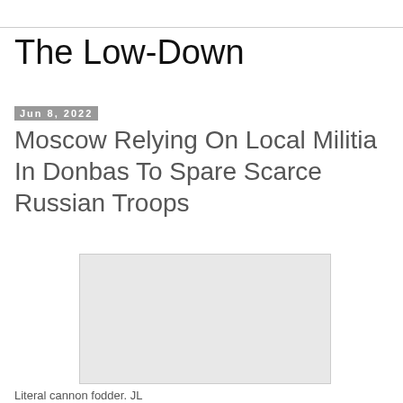The Low-Down
Jun 8, 2022
Moscow Relying On Local Militia In Donbas To Spare Scarce Russian Troops
[Figure (photo): Placeholder image rectangle, light gray, no visible content]
Literal cannon fodder. JL